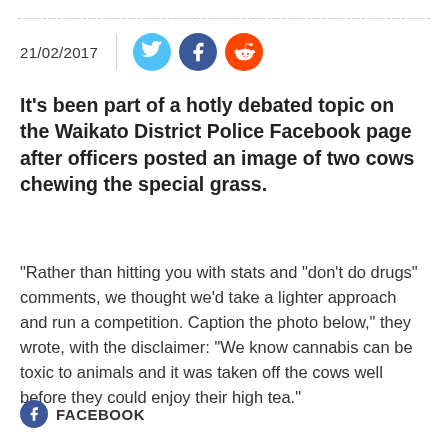21/02/2017
It's been part of a hotly debated topic on the Waikato District Police Facebook page after officers posted an image of two cows chewing the special grass.
"Rather than hitting you with stats and "don't do drugs" comments, we thought we'd take a lighter approach and run a competition. Caption the photo below," they wrote, with the disclaimer: "We know cannabis can be toxic to animals and it was taken off the cows well before they could enjoy their high tea."
FACEBOOK